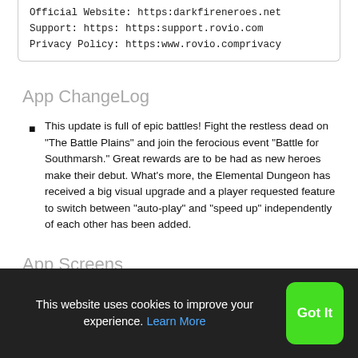Official Website: https:darkfireneroes.net
Support: https: https:support.rovio.com
Privacy Policy: https:www.rovio.comprivacy
App ChangeLog
This update is full of epic battles! Fight the restless dead on "The Battle Plains" and join the ferocious event "Battle for Southmarsh." Great rewards are to be had as new heroes make their debut. What's more, the Elemental Dungeon has received a big visual upgrade and a player requested feature to switch between "auto-play" and "speed up" independently of each other has been added.
App Screens
[Figure (screenshot): App screenshot showing a mobile game battle scene with UI elements including timer showing 27, small icons, and a settings gear icon.]
This website uses cookies to improve your experience. Learn More
Got It